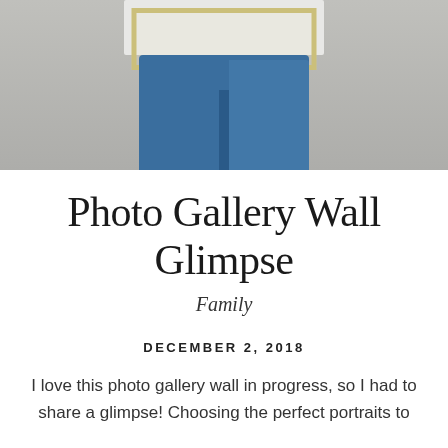[Figure (photo): Person holding a picture frame, showing lower body in blue jeans against a gray background]
Photo Gallery Wall Glimpse
Family
DECEMBER 2, 2018
I love this photo gallery wall in progress, so I had to share a glimpse! Choosing the perfect portraits to